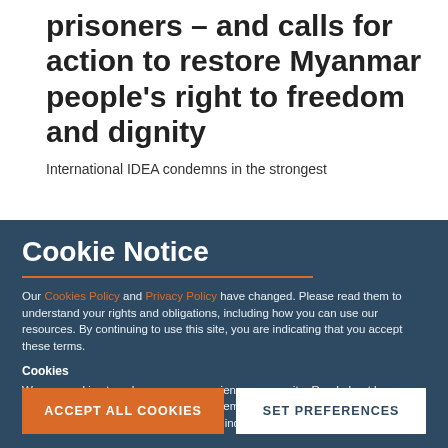situations of political prisoners – and calls for action to restore Myanmar people's right to freedom and dignity
International IDEA condemns in the strongest
Cookie Notice
Our Cookies Policy and Privacy Policy have changed. Please read them to understand your rights and obligations, including how you can use our resources. By continuing to use this site, you are indicating that you accept these terms.
Cookies
We use cookies to enhance your experience on our site. Read about how we use cookies and how you can control them here. By continuing to use this site, without changing your settings, you are indicating that you accept this policy.